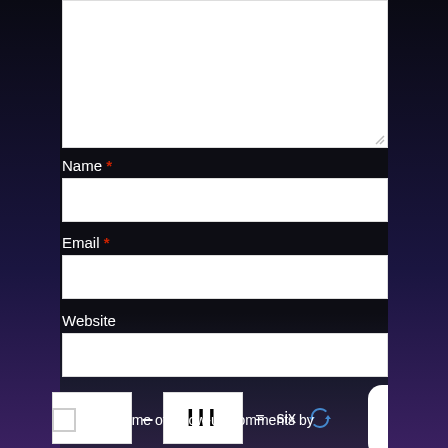[Figure (screenshot): White textarea input box for comment, partially visible at top of page with resize handle at bottom-right corner]
Name *
[Figure (screenshot): White text input field for Name]
Email *
[Figure (screenshot): White text input field for Email]
Website
[Figure (screenshot): White text input field for Website]
[Figure (screenshot): CAPTCHA widget: blank white input box, dash, white box with roman numerals III, equals sign, word 'six', refresh icon in blue]
[Figure (screenshot): Scroll-to-top button: white rounded rectangle with purple upward arrow]
Notify me of follow-up comments by